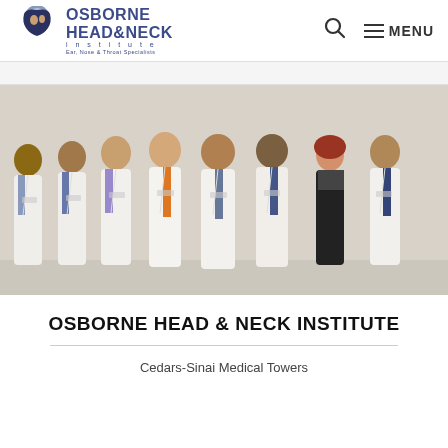OSBORNE HEAD & NECK institute Ear, Nose & Throat Specialists — MENU
[Figure (photo): Group photo of eight physicians in white lab coats standing together against a beige background at the Osborne Head & Neck Institute]
OSBORNE HEAD & NECK INSTITUTE
Cedars-Sinai Medical Towers